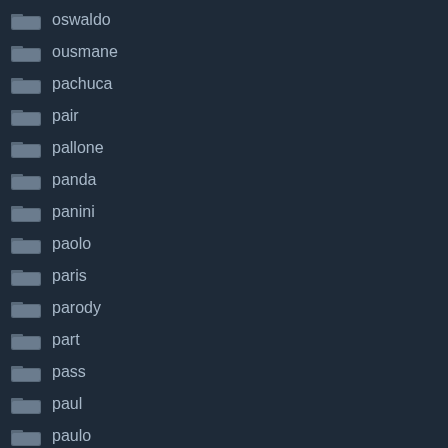oswaldo
ousmane
pachuca
pair
pallone
panda
panini
paolo
paris
parody
part
pass
paul
paulo
pawn
pele
penalty
pesbattles